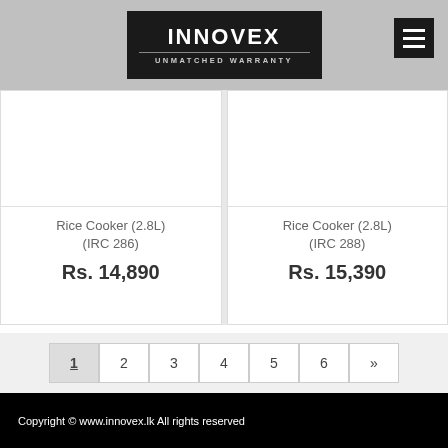[Figure (logo): Innovex logo with tagline UNMATCHED WARRANTY on black background, hamburger menu icon top right]
Rice Cooker (2.8L) (IRC 286)
Rs. 14,890
Rice Cooker (2.8L) (IRC 288)
Rs. 15,390
1 2 3 4 5 6 »
Copyright © www.innovex.lk All rights reserved